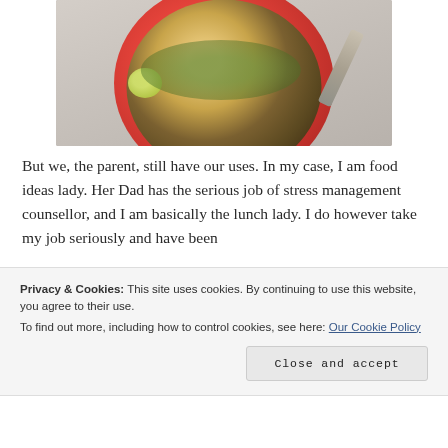[Figure (photo): Overhead photo of a red bowl filled with noodles, vegetables, sprouts, a lime wedge, and a fork on a light gray surface]
But we, the parent, still have our uses. In my case, I am food ideas lady. Her Dad has the serious job of stress management counsellor, and I am basically the lunch lady. I do however take my job seriously and have been
Privacy & Cookies: This site uses cookies. By continuing to use this website, you agree to their use.
To find out more, including how to control cookies, see here: Our Cookie Policy
Close and accept